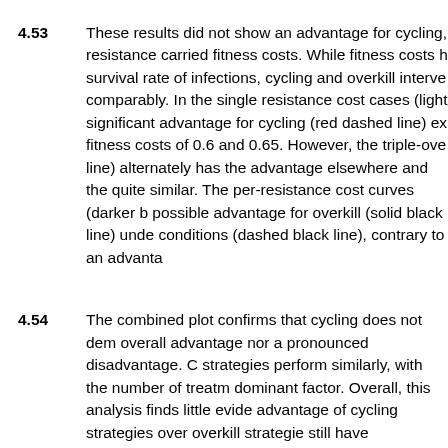4.53 These results did not show an advantage for cycling, resistance carried fitness costs. While fitness costs h survival rate of infections, cycling and overkill interve comparably. In the single resistance cost cases (light significant advantage for cycling (red dashed line) ex fitness costs of 0.6 and 0.65. However, the triple-ove line) alternately has the advantage elsewhere and the quite similar. The per-resistance cost curves (darker b possible advantage for overkill (solid black line) unde conditions (dashed black line), contrary to an advanta
4.54 The combined plot confirms that cycling does not dem overall advantage nor a pronounced disadvantage. C strategies perform similarly, with the number of treatm dominant factor. Overall, this analysis finds little evide advantage of cycling strategies over overkill strategie still have advantages where resistance carries a fitne other conditions. Longer cycling periods or a mutatio